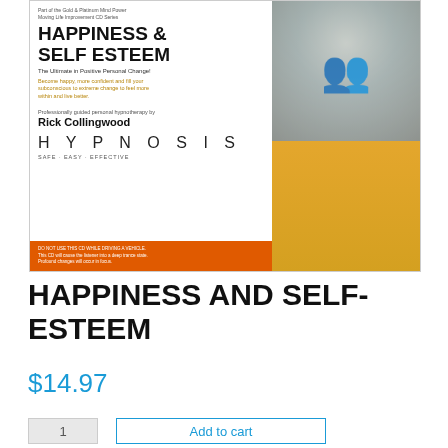[Figure (photo): Book cover for 'Happiness & Self Esteem' hypnosis CD by Rick Collingwood. Left side white background with bold title, subtitle 'The Ultimate in Positive Personal Change!', author name, and HYPNOSIS text with 'SAFE EASY EFFECTIVE'. Orange bar at bottom. Right side shows people in a circle view from below against a yellow/golden background.]
HAPPINESS AND SELF-ESTEEM
$14.97
Add to cart